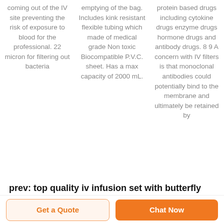coming out of the IV site preventing the risk of exposure to blood for the professional. 22 micron for filtering out bacteria
emptying of the bag. Includes kink resistant flexible tubing which made of medical grade Non toxic Biocompatible P.V.C. sheet. Has a max capacity of 2000 mL.
protein based drugs including cytokine drugs enzyme drugs hormone drugs and antibody drugs. 8 9 A concern with IV filters is that monoclonal antibodies could potentially bind to the membrane and ultimately be retained by
prev: top quality iv infusion set with butterfly needle ready to